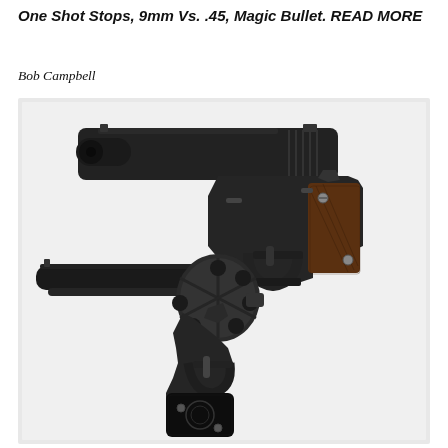One Shot Stops, 9mm Vs. .45, Magic Bullet. READ MORE
Bob Campbell
[Figure (photo): Photograph of two handguns on a white surface: a semi-automatic pistol (1911-style, black finish, wood grip) in the upper portion, and a single-action revolver (blued finish, black decorative grip with engraving) in the lower portion.]